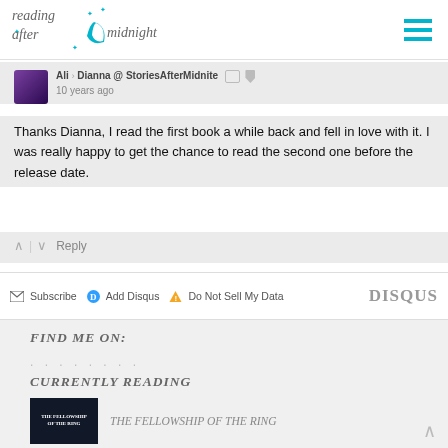reading after midnight
Ali > Dianna @ StoriesAfterMidnite • 10 years ago
Thanks Dianna, I read the first book a while back and fell in love with it. I was really happy to get the chance to read the second one before the release date.
^ | v  Reply
Subscribe  Add Disqus  Do Not Sell My Data  DISQUS
FIND ME ON:
. . . . . . . .
CURRENTLY READING
THE FELLOWSHIP OF THE RING